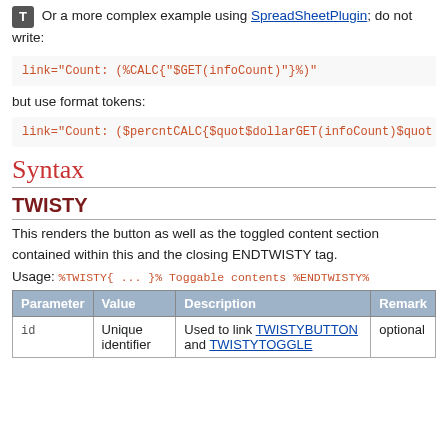Or a more complex example using SpreadSheetPlugin; do not write:
link="Count: (%CALC{"$GET(infoCount)"}%)"
but use format tokens:
link="Count: ($percntCALC{$quot$dollarGET(infoCount)$quot
Syntax
TWISTY
This renders the button as well as the toggled content section contained within this and the closing ENDTWISTY tag.
Usage: %TWISTY{ ... }% Toggable contents %ENDTWISTY%
| Parameter | Value | Description | Remark |
| --- | --- | --- | --- |
| id | Unique identifier | Used to link TWISTYBUTTON and TWISTYTOGGLE | optional |